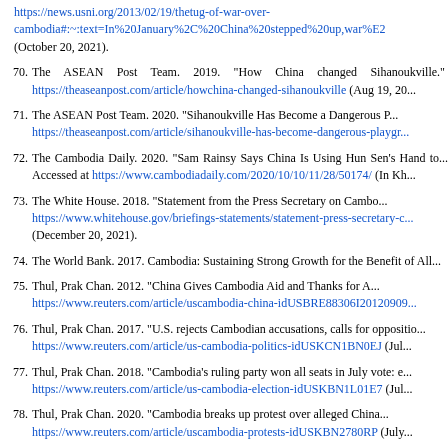(continuation) https://news.usni.org/2013/02/19/thetug-of-war-over-cambodia#:~:text=In%20January%2C%20China%20stepped%20up,war%E2... (October 20, 2021).
70. The ASEAN Post Team. 2019. "How China changed Sihanoukville." https://theaseanpost.com/article/howchina-changed-sihanoukville (Aug 19, 20...
71. The ASEAN Post Team. 2020. "Sihanoukville Has Become a Dangerous P... https://theaseanpost.com/article/sihanoukville-has-become-dangerous-playgr...
72. The Cambodia Daily. 2020. "Sam Rainsy Says China Is Using Hun Sen's Hand to... Accessed at https://www.cambodiadaily.com/2020/10/10/11/28/50174/ (In Kh...
73. The White House. 2018. "Statement from the Press Secretary on Cambo... https://www.whitehouse.gov/briefings-statements/statement-press-secretary-c... (December 20, 2021).
74. The World Bank. 2017. Cambodia: Sustaining Strong Growth for the Benefit of All...
75. Thul, Prak Chan. 2012. "China Gives Cambodia Aid and Thanks for A... https://www.reuters.com/article/uscambodia-china-idUSBRE88306I20120909...
76. Thul, Prak Chan. 2017. "U.S. rejects Cambodian accusations, calls for oppositio... https://www.reuters.com/article/us-cambodia-politics-idUSKCN1BN0EJ (Jul...
77. Thul, Prak Chan. 2018. "Cambodia's ruling party won all seats in July vote: e... https://www.reuters.com/article/us-cambodia-election-idUSKBN1L01E7 (Jul...
78. Thul, Prak Chan. 2020. "Cambodia breaks up protest over alleged China... https://www.reuters.com/article/uscambodia-protests-idUSKBN2780RP (July...